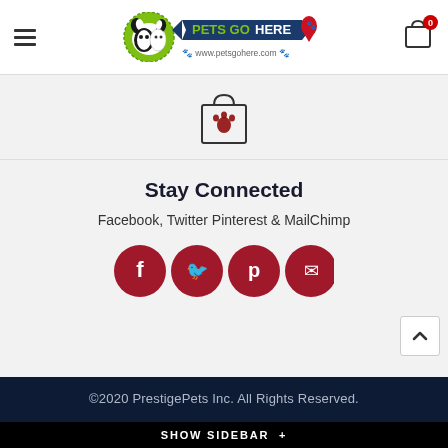[Figure (logo): Pets Go Here logo with dog and cat illustration, green circle, blue banner, paw print location pin, and website www.petsgohere.com]
[Figure (illustration): Shopping bag icon with paw print design in red outline on white background]
Stay Connected
Facebook, Twitter Pinterest & MailChimp
[Figure (infographic): Four dark red circular social media icons: Facebook (f), Twitter (bird), Pinterest (p), MailChimp (envelope)]
©2020 PrestigePets Inc. All Rights Reserved.
SHOW SIDEBAR +